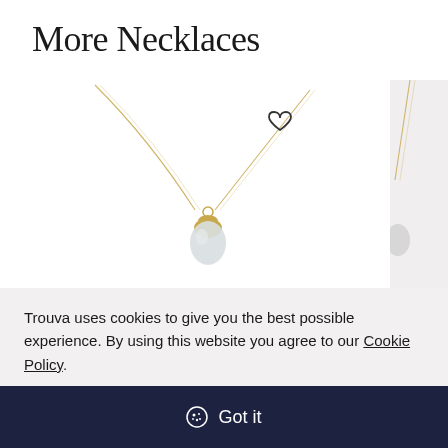More Necklaces
[Figure (photo): Gold chain necklace with a small teardrop pendant featuring a gold cap and pale grey/white stone, displayed on white background. Heart/wishlist icon visible in upper right of image. A second product image is partially visible on the right edge showing a gold chain on grey background.]
Trouva uses cookies to give you the best possible experience. By using this website you agree to our Cookie Policy.
Got it